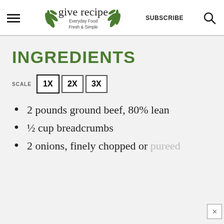give recipe — Everyday Food Fresh & Simple — SUBSCRIBE
INGREDIENTS
SCALE 1X 2X 3X
2 pounds ground beef, 80% lean
½ cup breadcrumbs
2 onions, finely chopped or pureed